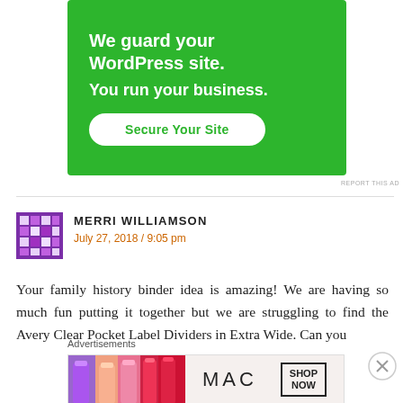[Figure (infographic): Green advertisement banner reading 'We guard your WordPress site. You run your business.' with a white 'Secure Your Site' button]
REPORT THIS AD
MERRI WILLIAMSON
July 27, 2018 / 9:05 pm
Your family history binder idea is amazing! We are having so much fun putting it together but we are struggling to find the Avery Clear Pocket Label Dividers in Extra Wide. Can you
Advertisements
[Figure (photo): MAC Cosmetics advertisement showing colorful lipsticks and MAC logo with SHOP NOW button]